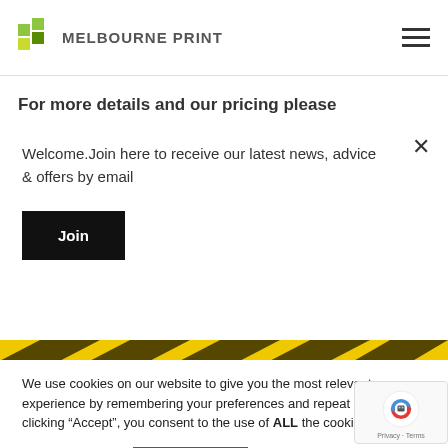MELBOURNE PRINT
For more details and our pricing please
download our price list below...
Welcome. Join here to receive our latest news, advice & offers by email
Join
[Figure (photo): Yellow and dark diagonal stripe image strip]
We use cookies on our website to give you the most relevant experience by remembering your preferences and repeat visits. By clicking “Accept”, you consent to the use of ALL the cookies.
Cookie settings    ACCEPT
[Figure (logo): reCAPTCHA badge with robot icon, Privacy and Terms links]